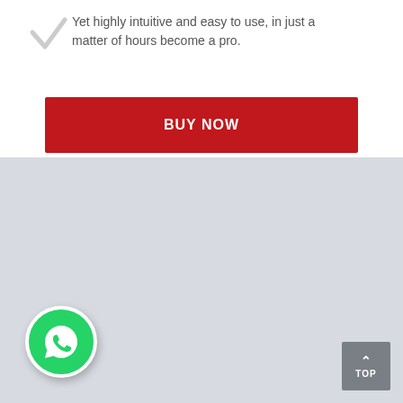Yet highly intuitive and easy to use, in just a matter of hours become a pro.
BUY NOW
[Figure (screenshot): A light gray browser/app panel with three small gray dots in the upper left corner, a WhatsApp green circular icon button at the lower left, and a gray 'TOP' scroll-to-top button at the lower right.]